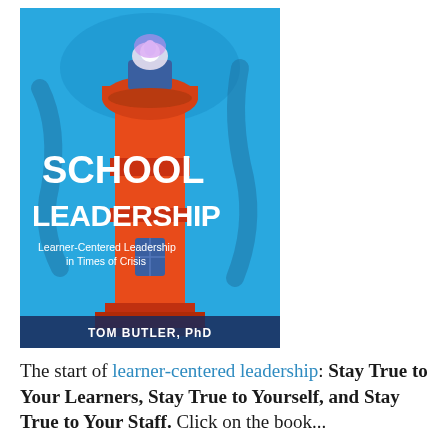[Figure (illustration): Book cover of 'School Leadership: Learner-Centered Leadership in Times of Crisis' by Tom Butler, PhD. Features a stylized orange and red lighthouse against a bright blue background with the title in bold white text.]
The start of learner-centered leadership: Stay True to Your Learners, Stay True to Yourself, and Stay True to Your Staff. Click on the book...